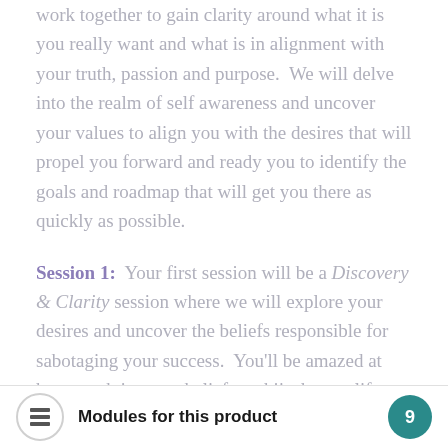work together to gain clarity around what it is you really want and what is in alignment with your truth, passion and purpose.  We will delve into the realm of self awareness and uncover your values to align you with the desires that will propel you forward and ready you to identify the goals and roadmap that will get you there as quickly as possible.
Session 1:  Your first session will be a Discovery & Clarity session where we will explore your desires and uncover the beliefs responsible for sabotaging your success.  You'll be amazed at how much just one belief can hijack your life and ripple out in all different
Modules for this product  9